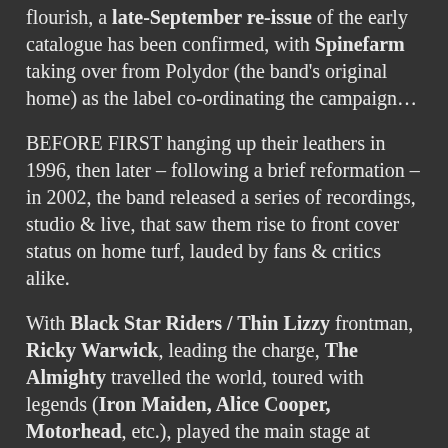flourish, a late-September re-issue of the early catalogue has been confirmed, with Spinefarm taking over from Polydor (the band's original home) as the label co-ordinating the campaign…
BEFORE FIRST hanging up their leathers in 1996, then later – following a brief reformation – in 2002, the band released a series of recordings, studio & live, that saw them rise to front cover status on home turf, lauded by fans & critics alike.
With Black Star Riders / Thin Lizzy frontman, Ricky Warwick, leading the charge, The Almighty travelled the world, toured with legends (Iron Maiden, Alice Cooper, Motorhead, etc.), played the main stage at Download (then called Monsters Of Rock), appeared on Top Of The Pops, had a Top 5 album & successive Top 30 singles, and generally delivered straight from the hip, thrilling audiences who liked their hard rock concerts to...